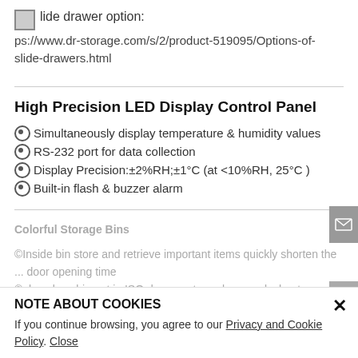Slide drawer option: https://www.dr-storage.com/s/2/product-519095/Options-of-slide-drawers.html
High Precision LED Display Control Panel
Simultaneously display temperature & humidity values
RS-232 port for data collection
Display Precision:±2%RH;±1°C (at <10%RH, 25°C )
Built-in flash & buzzer alarm
Colorful Storage Bins
Inside bin store and retrieve important items quickly shorten the ... door opening time
also place bin put in ISO documents such as work sheet or quality ... instructions for better QA management
NOTE ABOUT COOKIES
If you continue browsing, you agree to our Privacy and Cookie Policy. Close